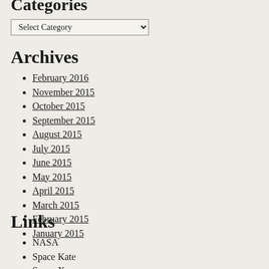Categories
Select Category
Archives
February 2016
November 2015
October 2015
September 2015
August 2015
July 2015
June 2015
May 2015
April 2015
March 2015
February 2015
January 2015
Links
NASA
Space Kate
Space X